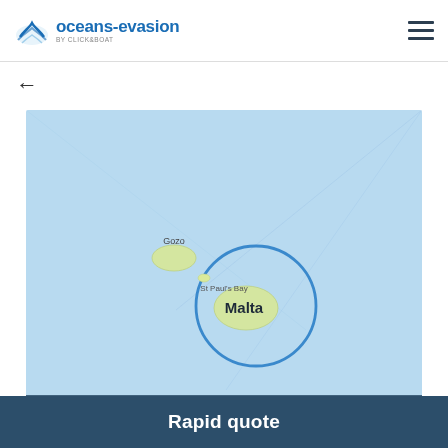oceans-evasion BY CLICK&BOAT
[Figure (map): Google Map showing the Malta region. A blue circle highlights the area around Malta and St Paul's Bay. The island of Gozo is visible to the northwest. The map background is light blue (sea) with faint diagonal lines. A Google logo appears in the bottom-left corner and 'Map data ©2022' in the bottom-right.]
Rapid quote